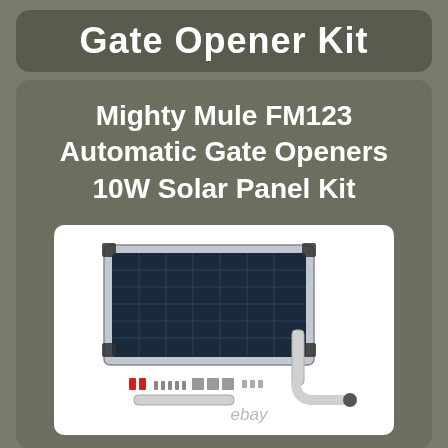Gate Opener Kit
Mighty Mule FM123 Automatic Gate Openers 10W Solar Panel Kit
[Figure (photo): Product photo of a 10W solar panel kit for Mighty Mule FM123 automatic gate opener, showing the solar panel, mounting arm, and small hardware components, with 'ebay' watermark at bottom right.]